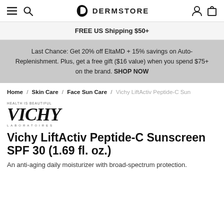DERMSTORE
FREE US Shipping $50+
Last Chance: Get 20% off EltaMD + 15% savings on Auto-Replenishment. Plus, get a free gift ($16 value) when you spend $75+ on the brand. SHOP NOW
Home / Skin Care / Face Sun Care / Vichy LiftActiv Peptide-C Sun...
[Figure (logo): Vichy Laboratoires logo with tagline HEALTH IS BEAUTIFUL]
Vichy LiftActiv Peptide-C Sunscreen SPF 30 (1.69 fl. oz.)
An anti-aging daily moisturizer with broad-spectrum protection.